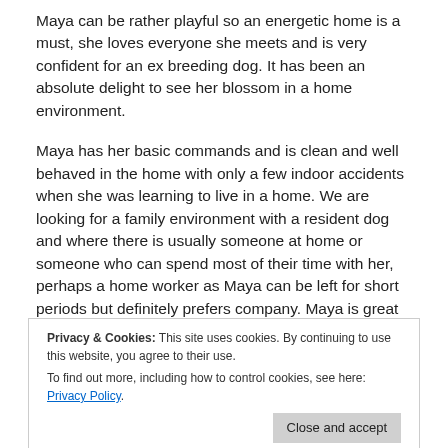Maya can be rather playful so an energetic home is a must, she loves everyone she meets and is very confident for an ex breeding dog. It has been an absolute delight to see her blossom in a home environment.
Maya has her basic commands and is clean and well behaved in the home with only a few indoor accidents when she was learning to live in a home. We are looking for a family environment with a resident dog and where there is usually someone at home or someone who can spend most of their time with her, perhaps a home worker as Maya can be left for short periods but definitely prefers company. Maya is great with people and can be homed with children of 8 years + although smaller visitors would be fine, she has also shown no interest in cats so could live with dog savvy cats.
Her ongoing vet pay a suspicious mammary lump was found and removed but the results from the laboratory show that the lump was benign and completely removed. During her time with us Maya has had one short episode of odd behaviour where she was salivating and vague for a couple of minutes, she was
Privacy & Cookies: This site uses cookies. By continuing to use this website, you agree to their use. To find out more, including how to control cookies, see here: Privacy Policy. Close and accept